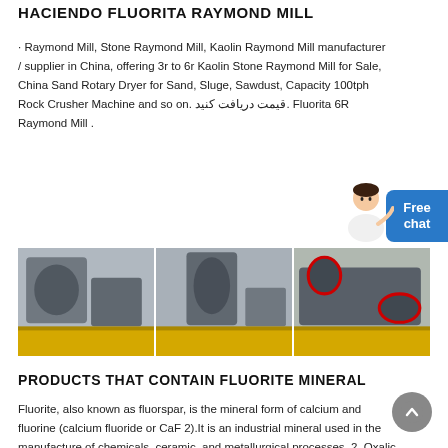HACIENDO FLUORITA RAYMOND MILL
· Raymond Mill, Stone Raymond Mill, Kaolin Raymond Mill manufacturer / supplier in China, offering 3r to 6r Kaolin Stone Raymond Mill for Sale, China Sand Rotary Dryer for Sand, Sluge, Sawdust, Capacity 100tph Rock Crusher Machine and so on. قیمت دریافت کنید. Fluorita 6R Raymond Mill .
[Figure (photo): Three side-by-side industrial photos of Raymond Mill machinery in a factory, with yellow bases on the machines.]
PRODUCTS THAT CONTAIN FLUORITE MINERAL
Fluorite, also known as fluorspar, is the mineral form of calcium and fluorine (calcium fluoride or CaF 2).It is an industrial mineral used in the manufacture of chemicals, ceramic, and metallurgical processes. 2. Oxalic acid will attack fluorite and will also produce